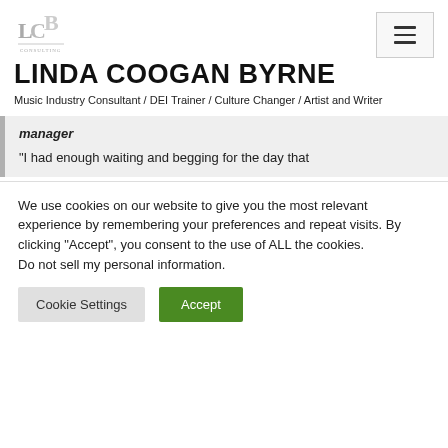[Figure (logo): LCB logo with interlocking letters and decorative underline]
LINDA COOGAN BYRNE
Music Industry Consultant / DEI Trainer / Culture Changer / Artist and Writer
manager
“I had enough waiting and begging for the day that
We use cookies on our website to give you the most relevant experience by remembering your preferences and repeat visits. By clicking “Accept”, you consent to the use of ALL the cookies.
Do not sell my personal information.